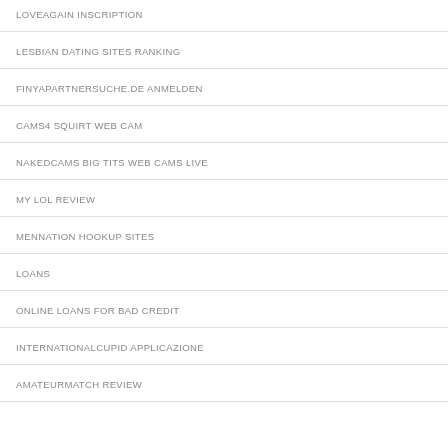LOVEAGAIN INSCRIPTION
LESBIAN DATING SITES RANKING
FINYAPARTNERSUCHE.DE ANMELDEN
CAMS4 SQUIRT WEB CAM
NAKEDCAMS BIG TITS WEB CAMS LIVE
MY LOL REVIEW
MENNATION HOOKUP SITES
LOANS
ONLINE LOANS FOR BAD CREDIT
INTERNATIONALCUPID APPLICAZIONE
AMATEURMATCH REVIEW